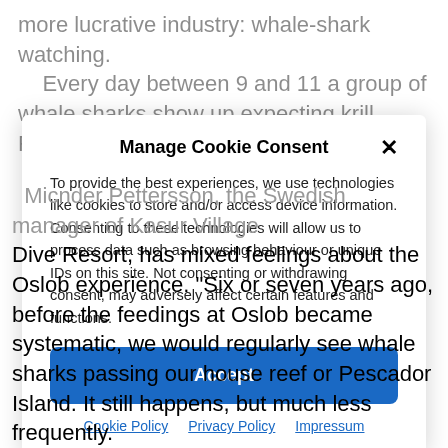more lucrative industry: whale-shark watching.
    Every day between 9 and 11 a group of whale sharks show up expecting krill. Feeding wild animals is
Manage Cookie Consent
To provide the best experiences, we use technologies like cookies to store and/or access device information. Consenting to these technologies will allow us to process data such as browsing behaviour or unique IDs on this site. Not consenting or withdrawing consent, may adversely affect certain features and functions.
Accept
Cookie Policy   Privacy Policy   Impressum
Micnder Pettersson, the Swedish manager of Kasur Village Dive Resort, has mixed feelings about the Oslob experience. "Six or seven years ago, before the feedings at Oslob became systematic, we would regularly see whale sharks passing our house reef or Pescador Island. It still happens, but much less frequently.